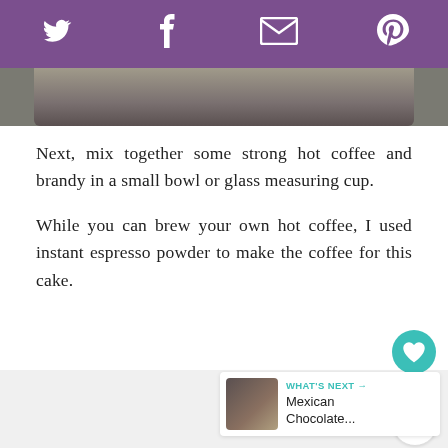Social share bar with Twitter, Facebook, Email, Pinterest icons
[Figure (photo): Partial photo of a dark bowl or cup, cropped at top of page]
Next, mix together some strong hot coffee and brandy in a small bowl or glass measuring cup.
While you can brew your own hot coffee, I used instant espresso powder to make the coffee for this cake.
[Figure (infographic): Heart/like button showing count of 1, and a share button]
WHAT'S NEXT → Mexican Chocolate...